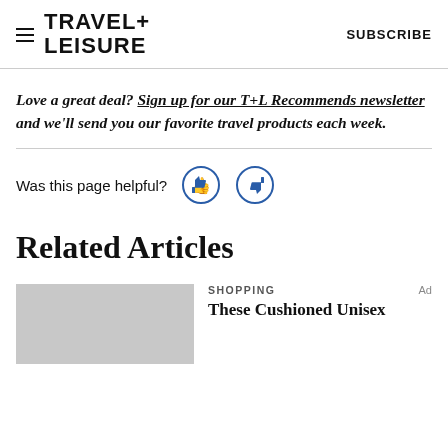TRAVEL+ LEISURE   SUBSCRIBE
Love a great deal? Sign up for our T+L Recommends newsletter and we'll send you our favorite travel products each week.
Was this page helpful?
Related Articles
SHOPPING
These Cushioned Unisex